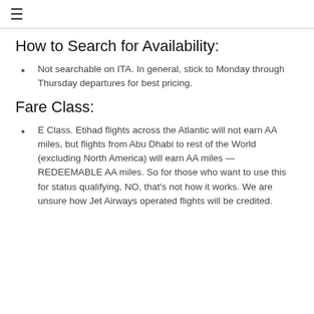≡
How to Search for Availability:
Not searchable on ITA. In general, stick to Monday through Thursday departures for best pricing.
Fare Class:
E Class. Etihad flights across the Atlantic will not earn AA miles, but flights from Abu Dhabi to rest of the World (excluding North America) will earn AA miles — REDEEMABLE AA miles. So for those who want to use this for status qualifying, NO, that's not how it works. We are unsure how Jet Airways operated flights will be credited.